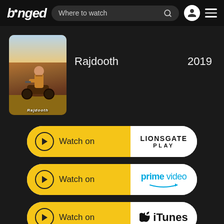binged — Where to watch
[Figure (screenshot): Movie poster for Rajdooth (2019) showing a person on a motorcycle with an illustrated background]
Rajdooth   2019
Watch on LIONSGATE PLAY
Watch on prime video
Watch on iTunes
Dharma Prabhu   2019